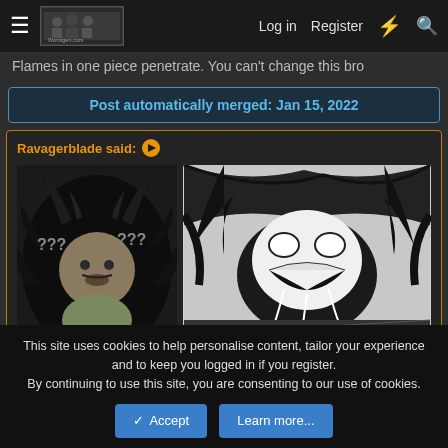Log in  Register
Flames in one piece penetrate. You can't change this bro
Post automatically merged: Jan 15, 2022
Ravagerblade said:
[Figure (illustration): Two manga-style images: left shows a meme face with horns and question marks, right shows a manga panel of a character screaming with dark energy]
Click to expand...
This site uses cookies to help personalise content, tailor your experience and to keep you logged in if you register.
By continuing to use this site, you are consenting to our use of cookies.